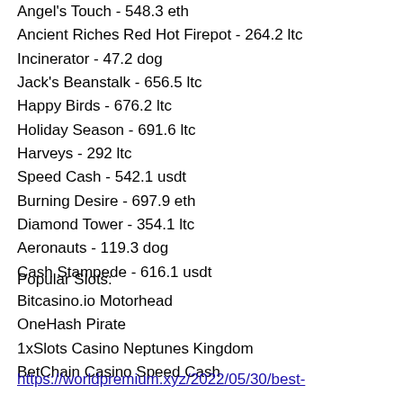Angel's Touch - 548.3 eth
Ancient Riches Red Hot Firepot - 264.2 ltc
Incinerator - 47.2 dog
Jack's Beanstalk - 656.5 ltc
Happy Birds - 676.2 ltc
Holiday Season - 691.6 ltc
Harveys - 292 ltc
Speed Cash - 542.1 usdt
Burning Desire - 697.9 eth
Diamond Tower - 354.1 ltc
Aeronauts - 119.3 dog
Cash Stampede - 616.1 usdt
Popular Slots:
Bitcasino.io Motorhead
OneHash Pirate
1xSlots Casino Neptunes Kingdom
BetChain Casino Speed Cash
https://worldpremium.xyz/2022/05/30/best-